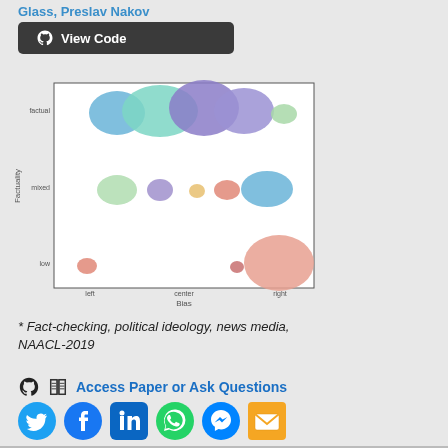Glass, Preslav Nakov
View Code
[Figure (bubble-chart): Bubble chart with x-axis labeled 'Bias' (left, center, right) and y-axis labeled 'Factuality' (low, mixed, factual). Colored bubbles of varying sizes are placed at different positions representing news sources by their political bias and factuality level. Large teal/blue/purple bubbles at top (factual), medium green/purple/orange/red/blue bubbles in middle (mixed), and small red plus large salmon bubble at bottom (low).]
* Fact-checking, political ideology, news media, NAACL-2019
Access Paper or Ask Questions
[Figure (infographic): Row of social media icons: Twitter, Facebook, LinkedIn, WhatsApp, Messenger, Email]